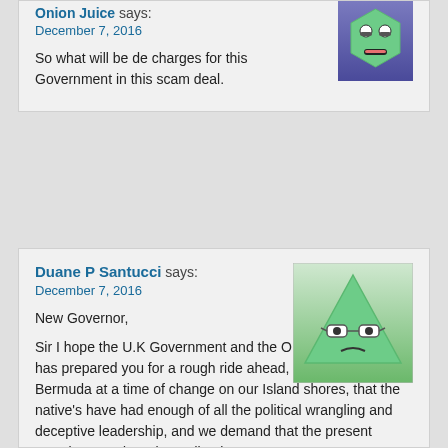Onion Juice says:
December 7, 2016
So what will be de charges for this Government in this scam deal.
Duane P Santucci says:
December 7, 2016
New Governor,

Sir I hope the U.K Government and the O.B.A Government has prepared you for a rough ride ahead, you are entering Bermuda at a time of change on our Island shores, that the native's have had enough of all the political wrangling and deceptive leadership, and we demand that the present Premier step down immediately.

The best way forward from the look's of the start of 2016 to present, is that we have a no confidence vote, and/or dissolve parliament altogether.

The present Government is hell bent on saying that the people are acting out in a illegal manner, while on the other hand act's of attacking people with pepper spray, and force from the riot squad, were several individual's was effected greatly, including seniors that was using their democratic right